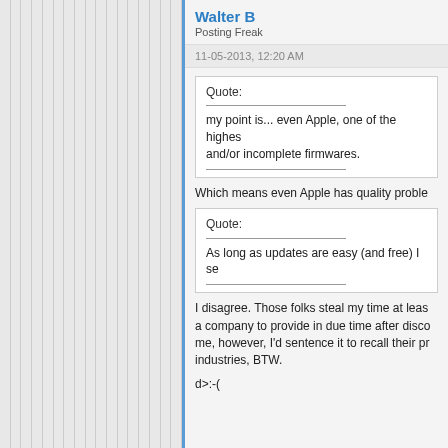Walter B
Posting Freak
11-05-2013, 12:20 AM
Quote:
my point is... even Apple, one of the highest... and/or incomplete firmwares.
Which means even Apple has quality proble
Quote:
As long as updates are easy (and free) I se
I disagree. Those folks steal my time at least a company to provide in due time after disco me, however, I'd sentence it to recall their pr industries, BTW.
d>:-(